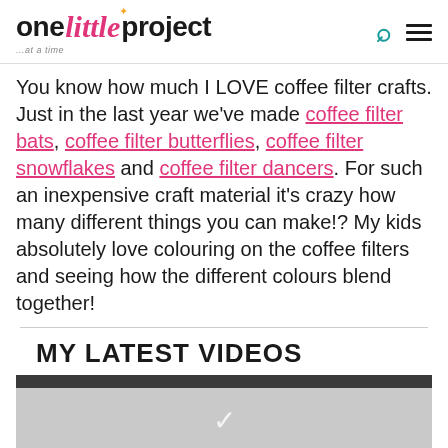one little project ...at a time
You know how much I LOVE coffee filter crafts. Just in the last year we've made coffee filter bats, coffee filter butterflies, coffee filter snowflakes and coffee filter dancers. For such an inexpensive craft material it's crazy how many different things you can make!? My kids absolutely love colouring on the coffee filters and seeing how the different colours blend together!
MY LATEST VIDEOS
[Figure (screenshot): Video thumbnail placeholder with dark top bar and light grey area below, partially visible]